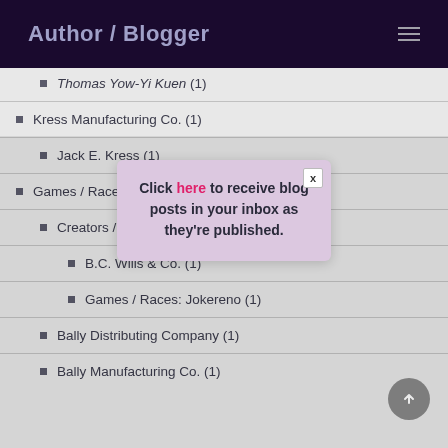Author / Blogger
Thomas Yow-Yi Kuen (1)
Kress Manufacturing Co. (1)
Jack E. Kress (1)
Games / Races (2…)
Creators / Manufacturers (…)
B.C. Wills & Co. (1)
Games / Races: Jokereno (1)
Bally Distributing Company (1)
Bally Manufacturing Co. (1)
[Figure (other): Modal popup with text: Click here to receive blog posts in your inbox as they're published. Has an X close button. Background is pink/lavender.]